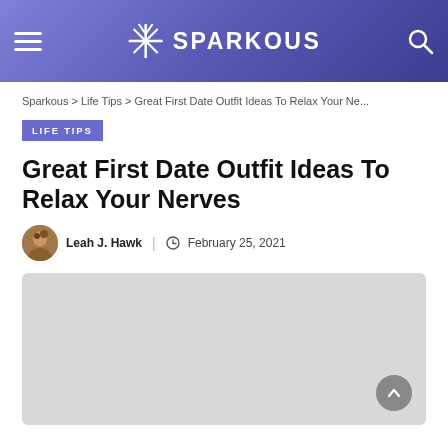SPARKOUS
Sparkous > Life Tips > Great First Date Outfit Ideas To Relax Your Ne...
LIFE TIPS
Great First Date Outfit Ideas To Relax Your Nerves
Leah J. Hawk | February 25, 2021
[Figure (photo): Featured article image placeholder (light gray)]